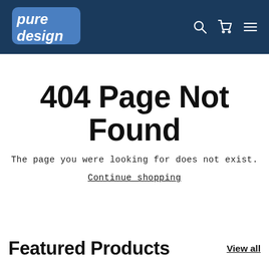Pure Design — navigation header with logo, search, cart, and menu icons
404 Page Not Found
The page you were looking for does not exist.
Continue shopping
Featured Products
View all